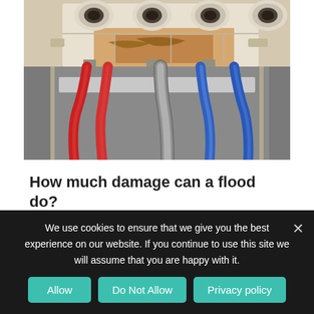[Figure (photo): Photograph of a damaged electrical circuit breaker box with corroded/burnt white plastic casing. Multiple colored wires visible: red wires on the left side, blue wires on the right, and silver/gray cable in the middle. Rust-colored corrosion and debris visible on the breaker components, indicating flood or fire damage.]
How much damage can a flood do?
Jan 21, 2019 | Commercial Electrician, Electrical Hazards, Electrical Repair
We use cookies to ensure that we give you the best experience on our website. If you continue to use this site we will assume that you are happy with it.
Allow
Do Not Allow
Privacy policy